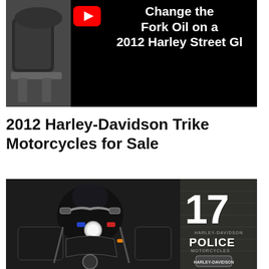[Figure (screenshot): YouTube video thumbnail showing a Harley-Davidson motorcycle on the left (black & white photo) and white bold text on black background reading 'Change the Fork Oil on a 2012 Harley Street Gl' with a YouTube play button icon]
2012 Harley-Davidson Trike Motorcycles for Sale
[Figure (photo): Black and white photo of a Harley-Davidson police motorcycle with the number 17 in large white text on the right side, along with 'HARLEY-DAVIDSON POLICE MOTORCYCLES' text and the Harley-Davidson logo badge]